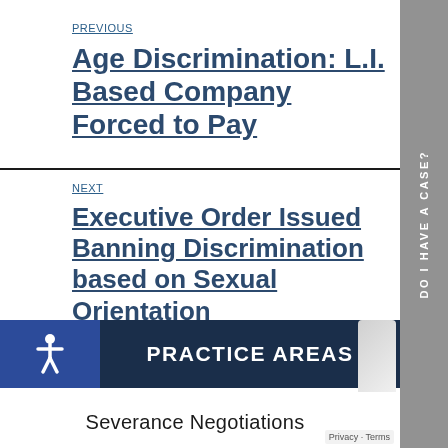PREVIOUS
Age Discrimination: L.I. Based Company Forced to Pay
NEXT
Executive Order Issued Banning Discrimination based on Sexual Orientation
PRACTICE AREAS
Severance Negotiations
DO I HAVE A CASE?
Privacy · Terms